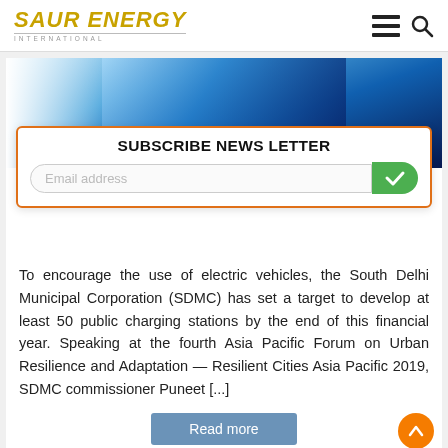SAUR ENERGY INTERNATIONAL
[Figure (photo): Electric vehicle charging plug with glowing blue light, futuristic technology imagery]
SUBSCRIBE NEWS LETTER
Email address
To encourage the use of electric vehicles, the South Delhi Municipal Corporation (SDMC) has set a target to develop at least 50 public charging stations by the end of this financial year. Speaking at the fourth Asia Pacific Forum on Urban Resilience and Adaptation — Resilient Cities Asia Pacific 2019, SDMC commissioner Puneet [...]
Read more
Mumbai Housing Complex Goes Solar, To Reduce Electricity Bill by 70%